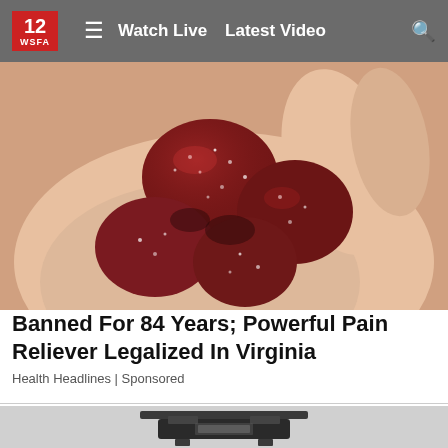12 WSFA  ≡  Watch Live  Latest Video  🔍
[Figure (photo): A hand holding several dark red sugary gummy candies]
Banned For 84 Years; Powerful Pain Reliever Legalized In Virginia
Health Headlines | Sponsored
[Figure (photo): Partial view of a dark kitchen appliance, possibly a grill or scale, on a light gray background]